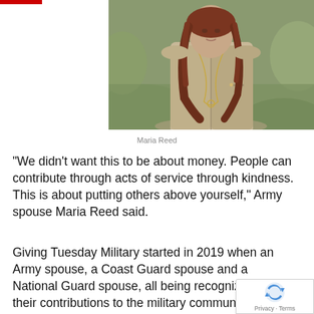[Figure (photo): Portrait photo of Maria Reed, a woman with long reddish-brown hair wearing a light tan/khaki jacket over a dark gray top with a long necklace, posed outdoors with a blurred green background.]
Maria Reed
“We didn’t want this to be about money. People can contribute through acts of service through kindness. This is about putting others above yourself,” Army spouse Maria Reed said.
Giving Tuesday Military started in 2019 when an Army spouse, a Coast Guard spouse and a National Guard spouse, all being recognized for their contributions to the military community, met in Washington, D.C.